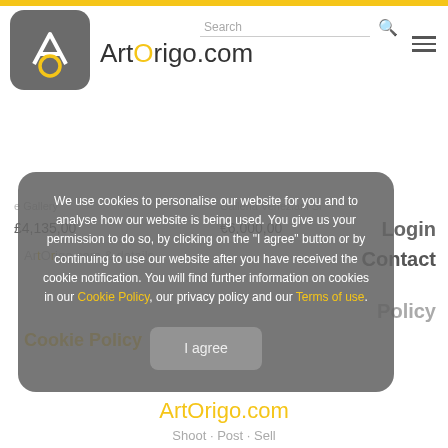ArtOrigo.com
£4,135,00
€6,000,00
We use cookies to personalise our website for you and to analyse how our website is being used. You give us your permission to do so, by clicking on the "I agree" button or by continuing to use our website after you have received the cookie notification. You will find further information on cookies in our Cookie Policy, our privacy policy and our Terms of use.
I agree
Login
Contact
Privacy Policy
Cookie Policy
ArtOrigo.com
Shoot · Post · Sell